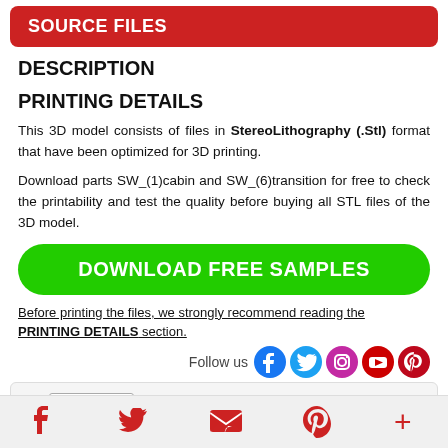SOURCE FILES
DESCRIPTION
PRINTING DETAILS
This 3D model consists of files in StereoLithography (.Stl) format that have been optimized for 3D printing.
Download parts SW_(1)cabin and SW_(6)transition for free to check the printability and test the quality before buying all STL files of the 3D model.
DOWNLOAD FREE SAMPLES
Before printing the files, we strongly recommend reading the PRINTING DETAILS section.
Follow us
version: Get it Printed